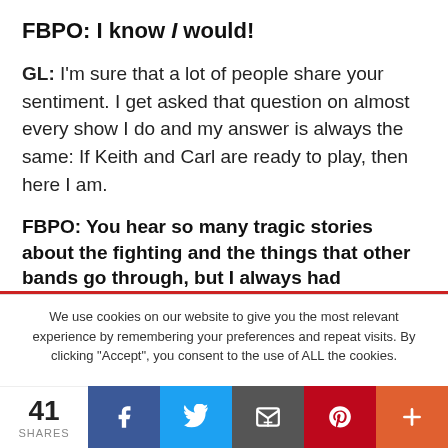FBPO: I know I would!
GL: I'm sure that a lot of people share your sentiment. I get asked that question on almost every show I do and my answer is always the same: If Keith and Carl are ready to play, then here I am.
FBPO: You hear so many tragic stories about the fighting and the things that other bands go through, but I always had
We use cookies on our website to give you the most relevant experience by remembering your preferences and repeat visits. By clicking "Accept", you consent to the use of ALL the cookies.
41 SHARES